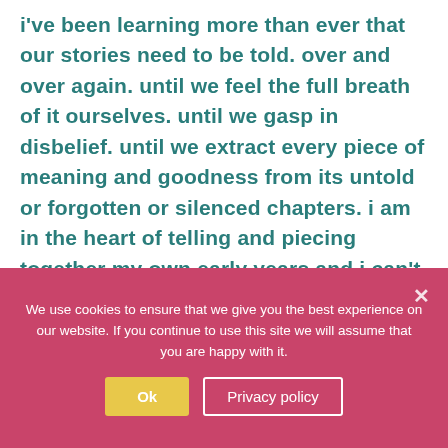i've been learning more than ever that our stories need to be told. over and over again. until we feel the full breath of it ourselves. until we gasp in disbelief. until we extract every piece of meaning and goodness from its untold or forgotten or silenced chapters. i am in the heart of telling and piecing together my own early years and i can't tell you what it means to see myself so tenderly like never before.
We use cookies to ensure that we give you the best experience on our website. If you continue to use this site we will assume that you are happy with it.